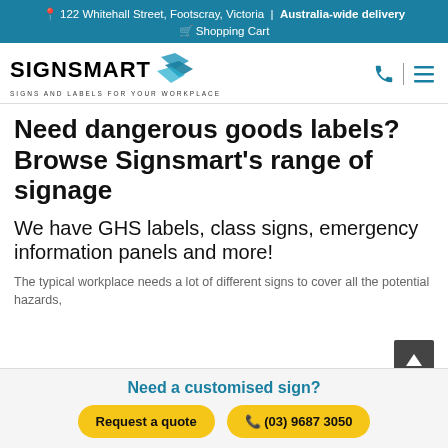📍 122 Whitehall Street, Footscray, Victoria | Australia-wide delivery
🛒 Shopping Cart
[Figure (logo): Signsmart logo with blue diamond shapes and tagline SIGNS AND LABELS FOR YOUR WORKPLACE]
Need dangerous goods labels? Browse Signsmart's range of signage
We have GHS labels, class signs, emergency information panels and more!
The typical workplace needs a lot of different signs to cover all the potential hazards,
Need a customised sign?
Request a quote
📞 (03) 9687 3050